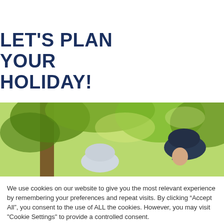LET'S PLAN YOUR HOLIDAY!
[Figure (photo): Two people wearing bicycle helmets outdoors under a tree with green foliage in sunlight]
We use cookies on our website to give you the most relevant experience by remembering your preferences and repeat visits. By clicking “Accept All”, you consent to the use of ALL the cookies. However, you may visit "Cookie Settings" to provide a controlled consent.
Cookie Settings | Accept All